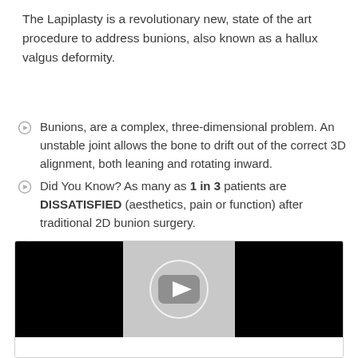The Lapiplasty is a revolutionary new, state of the art procedure to address bunions, also known as a hallux valgus deformity.
Bunions, are a complex, three-dimensional problem. An unstable joint allows the bone to drift out of the correct 3D alignment, both leaning and rotating inward.
Did You Know? As many as 1 in 3 patients are DISSATISFIED (aesthetics, pain or function) after traditional 2D bunion surgery.
There is a better way.
[Figure (screenshot): Embedded video player thumbnail showing a darkened video with a play button (triangle inside a rounded rectangle) in the center gray section, with black bars on left and right sides.]